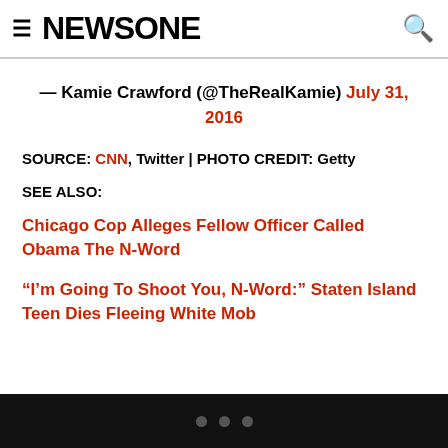≡ NEWSONE 🔍
— Kamie Crawford (@TheRealKamie) July 31, 2016
SOURCE: CNN, Twitter | PHOTO CREDIT: Getty
SEE ALSO:
Chicago Cop Alleges Fellow Officer Called Obama The N-Word
“I’m Going To Shoot You, N-Word:” Staten Island Teen Dies Fleeing White Mob